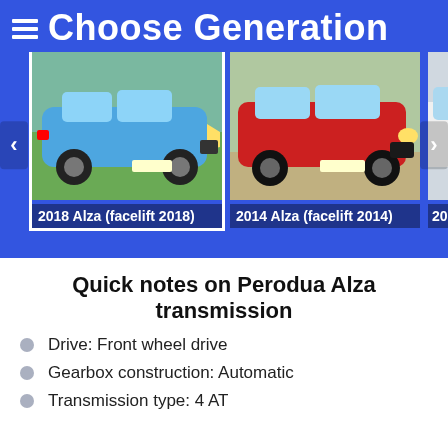Choose Generation
[Figure (photo): Carousel showing three Perodua Alza car generations: 2018 Alza (facelift 2018) - blue car, 2014 Alza (facelift 2014) - red car, 2009 Alza - white car (partially visible)]
Quick notes on Perodua Alza transmission
Drive: Front wheel drive
Gearbox construction: Automatic
Transmission type: 4 AT